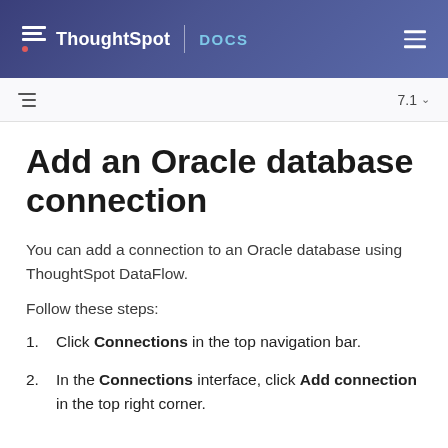ThoughtSpot | DOCS
Add an Oracle database connection
You can add a connection to an Oracle database using ThoughtSpot DataFlow.
Follow these steps:
1. Click Connections in the top navigation bar.
2. In the Connections interface, click Add connection in the top right corner.